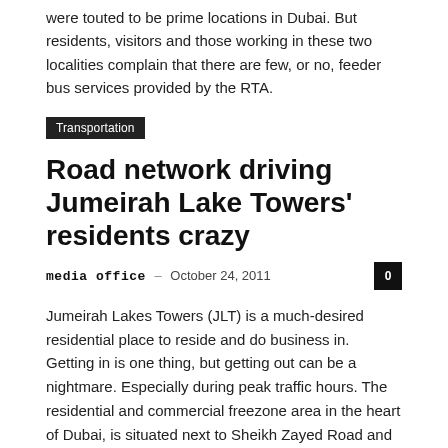were touted to be prime locations in Dubai. But residents, visitors and those working in these two localities complain that there are few, or no, feeder bus services provided by the RTA.
Transportation
Road network driving Jumeirah Lake Towers' residents crazy
media office – October 24, 2011
Jumeirah Lakes Towers (JLT) is a much-desired residential place to reside and do business in. Getting in is one thing, but getting out can be a nightmare. Especially during peak traffic hours. The residential and commercial freezone area in the heart of Dubai, is situated next to Sheikh Zayed Road and serviced by two metro stations
Construction and technology
Tameer completes superstructure on Dubai tower
media office – May 19, 2011